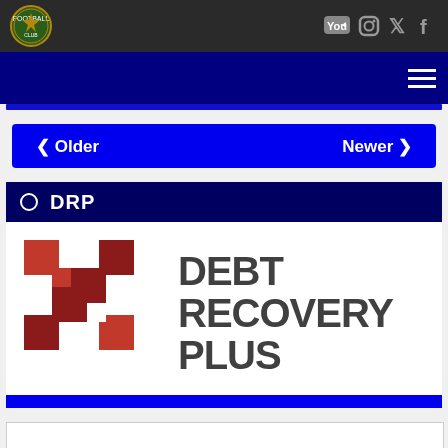[Figure (logo): Club crest/logo badge on dark header bar with social media icons (YouTube, Instagram, Twitter, Facebook)]
[Figure (screenshot): Navigation bar with hamburger menu icon on dark blue background]
< Older    Newer >
DRP
[Figure (logo): Debt Recovery Plus logo with red cross/arrow motifs and bold text reading DEBT RECOVERY PLUS]
> Official Junior Shirt Sponsor